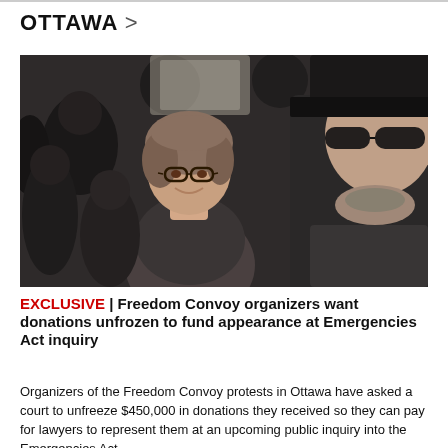OTTAWA >
[Figure (photo): Two people in a crowd — a smiling woman with glasses and brown hair, and a man wearing sunglasses and a dark hat, with other people visible in the background.]
EXCLUSIVE | Freedom Convoy organizers want donations unfrozen to fund appearance at Emergencies Act inquiry
Organizers of the Freedom Convoy protests in Ottawa have asked a court to unfreeze $450,000 in donations they received so they can pay for lawyers to represent them at an upcoming public inquiry into the Emergencies Act.